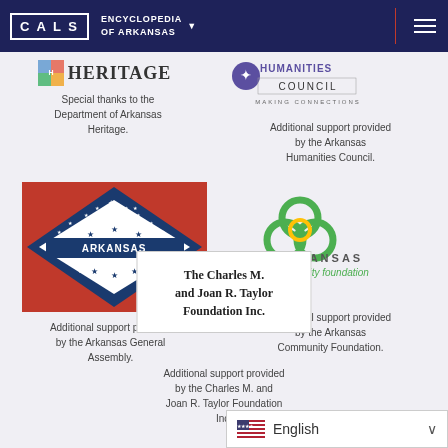CALS ENCYCLOPEDIA OF ARKANSAS
[Figure (logo): Department of Arkansas Heritage logo with colorful icon and HERITAGE text]
Special thanks to the Department of Arkansas Heritage.
[Figure (logo): Arkansas Humanities Council logo with globe icon and text HUMANITIES COUNCIL MAKING CONNECTIONS]
Additional support provided by the Arkansas Humanities Council.
[Figure (illustration): Arkansas state flag - red background with blue diamond border edged with white stars, white diamond center with ARKANSAS text and stars]
Additional support provided by the Arkansas General Assembly.
[Figure (logo): Arkansas Community Foundation logo with green and yellow interlocking rings and text ARKANSAS community foundation]
Additional support provided by the Arkansas Community Foundation.
[Figure (logo): The Charles M. and Joan R. Taylor Foundation Inc. white box with bold text]
Additional support provided by the Charles M. and Joan R. Taylor Foundation Inc.